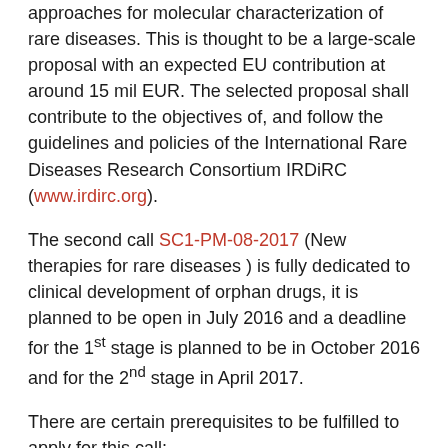approaches for molecular characterization of rare diseases. This is thought to be a large-scale proposal with an expected EU contribution at around 15 mil EUR. The selected proposal shall contribute to the objectives of, and follow the guidelines and policies of the International Rare Diseases Research Consortium IRDiRC (www.irdirc.org).
The second call SC1-PM-08-2017 (New therapies for rare diseases ) is fully dedicated to clinical development of orphan drugs, it is planned to be open in July 2016 and a deadline for the 1st stage is planned to be in October 2016 and for the 2nd stage in April 2017.
There are certain prerequisites to be fulfilled to apply for this call:
1) Orphan designation has been given by the European Commission (via EMA),
2) The proposed clinical trial design takes into account